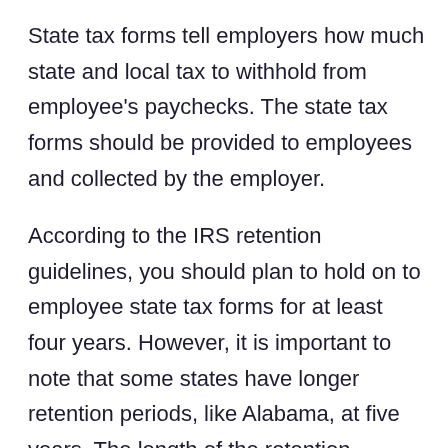State tax forms tell employers how much state and local tax to withhold from employee's paychecks. The state tax forms should be provided to employees and collected by the employer.
According to the IRS retention guidelines, you should plan to hold on to employee state tax forms for at least four years. However, it is important to note that some states have longer retention periods, like Alabama, at five years. The length of the retention periods should always be followed.
Find and print state tax forms here.